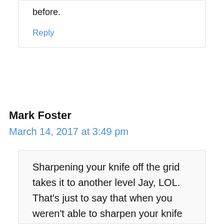before.
Reply
Mark Foster
March 14, 2017 at 3:49 pm
Sharpening your knife off the grid takes it to another level Jay, LOL. That’s just to say that when you weren’t able to sharpen your knife so it performs poorly when you’re out